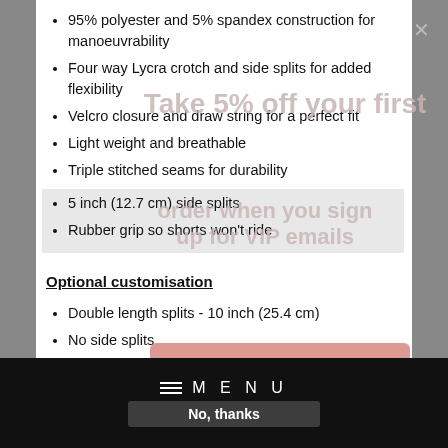95% polyester and 5% spandex construction for manoeuvrability
Four way Lycra crotch and side splits for added flexibility
Velcro closure and draw string for a perfect fit
Light weight and breathable
Triple stitched seams for durability
5 inch (12.7 cm) side splits
Rubber grip so shorts won't ride
Optional customisation
Double length splits - 10 inch (25.4 cm)
No side splits
MENU
No, thanks